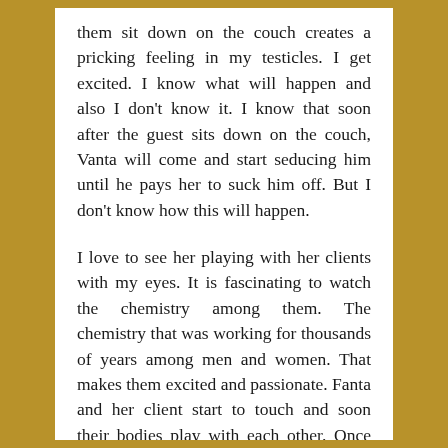them sit down on the couch creates a pricking feeling in my testicles. I get excited. I know what will happen and also I don't know it. I know that soon after the guest sits down on the couch, Vanta will come and start seducing him until he pays her to suck him off. But I don't know how this will happen.
I love to see her playing with her clients with my eyes. It is fascinating to watch the chemistry among them. The chemistry that was working for thousands of years among men and women. That makes them excited and passionate. Fanta and her client start to touch and soon their bodies play with each other. Once the deal among them is made they get physical and often so do I.